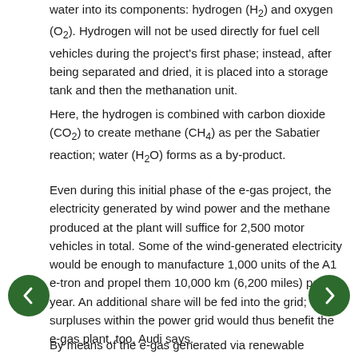water into its components: hydrogen (H₂) and oxygen (O₂). Hydrogen will not be used directly for fuel cell vehicles during the project's first phase; instead, after being separated and dried, it is placed into a storage tank and then the methanation unit.
Here, the hydrogen is combined with carbon dioxide (CO₂) to create methane (CH₄) as per the Sabatier reaction; water (H₂O) forms as a by-product.
Even during this initial phase of the e-gas project, the electricity generated by wind power and the methane produced at the plant will suffice for 2,500 motor vehicles in total. Some of the wind-generated electricity would be enough to manufacture 1,000 units of the A1 e-tron and propel them 10,000 km (6,200 miles) per year. An additional share will be fed into the grid; surpluses within the power grid would thus benefit the e-gas plant, too, Audi says.
By means of the e-gas generated via renewable energy, 1,500 units of the A3 TCNG could each be driven 15,000